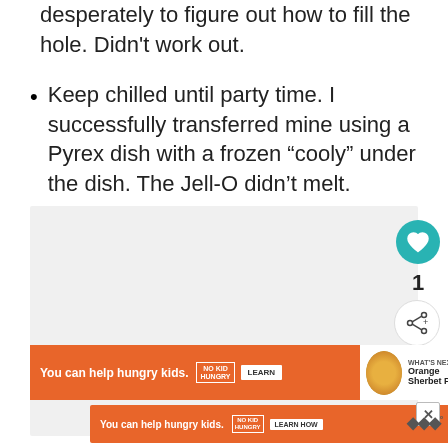desperately to figure out how to fill the hole. Didn't work out.
Keep chilled until party time. I successfully transferred mine using a Pyrex dish with a frozen “cooly” under the dish. The Jell-O didn’t melt.
[Figure (photo): Grey placeholder image area with heart/like button (teal circle, heart icon), count '1', and share button below on the right side.]
[Figure (infographic): Orange 'No Kid Hungry' advertisement banner reading 'You can help hungry kids.' with LEARN button. Next to it a 'WHAT'S NEXT' panel showing 'Orange Sherbet Pun...' with a food photo.]
[Figure (infographic): Second orange advertisement banner at bottom: 'You can help hungry kids.' with NO KID HUNGRY logo and LEARN HOW button, with close X button and WW logo to the right.]